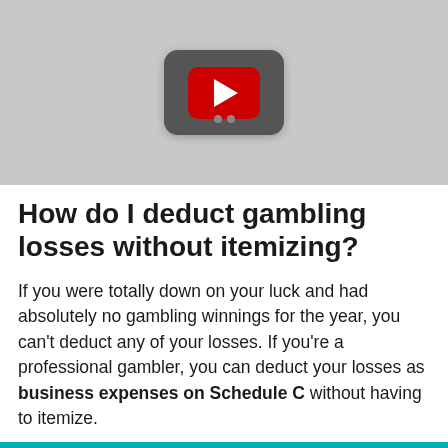[Figure (screenshot): YouTube video thumbnail placeholder showing a grey background with a dark rounded rectangle containing a red YouTube play button]
How do I deduct gambling losses without itemizing?
If you were totally down on your luck and had absolutely no gambling winnings for the year, you can't deduct any of your losses. If you're a professional gambler, you can deduct your losses as business expenses on Schedule C without having to itemize.